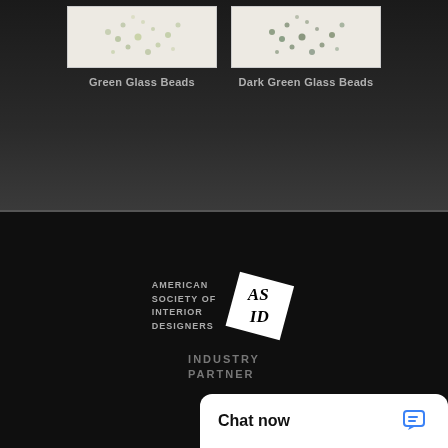[Figure (photo): Product image of Green Glass Beads on white background]
Green Glass Beads
[Figure (photo): Product image of Dark Green Glass Beads on white background]
Dark Green Glass Beads
[Figure (logo): ASID American Society of Interior Designers Industry Partner logo]
Chat now